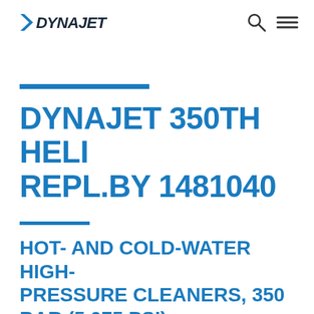DYNAJET
DYNAJET 350TH HELI REPL.BY 1481040
HOT- AND COLD-WATER HIGH-PRESSURE CLEANERS, 350 BAR (5,075 PSI)